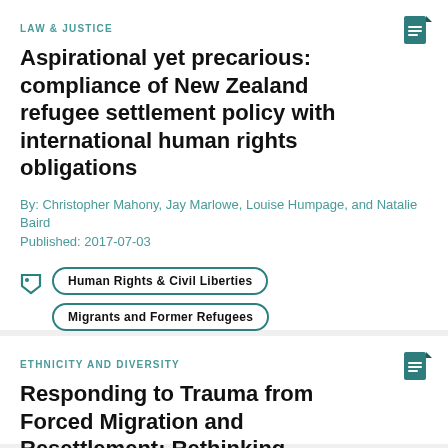LAW & JUSTICE
Aspirational yet precarious: compliance of New Zealand refugee settlement policy with international human rights obligations
By: Christopher Mahony, Jay Marlowe, Louise Humpage, and Natalie Baird
Published: 2017-07-03
Human Rights & Civil Liberties
Migrants and Former Refugees
ETHNICITY AND DIVERSITY
Responding to Trauma from Forced Migration and Resettlement: Rethinking Perspectives on Sudanese Refugees